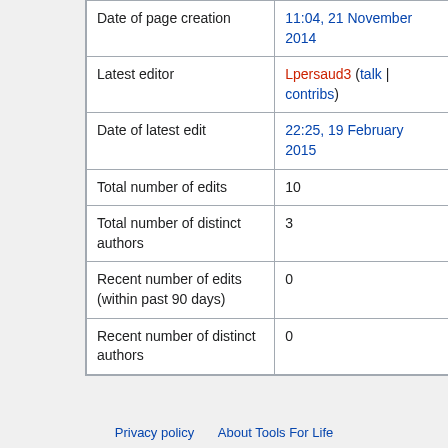| Date of page creation | 11:04, 21 November 2014 |
| Latest editor | Lpersaud3 (talk | contribs) |
| Date of latest edit | 22:25, 19 February 2015 |
| Total number of edits | 10 |
| Total number of distinct authors | 3 |
| Recent number of edits (within past 90 days) | 0 |
| Recent number of distinct authors | 0 |
Privacy policy   About Tools For Life